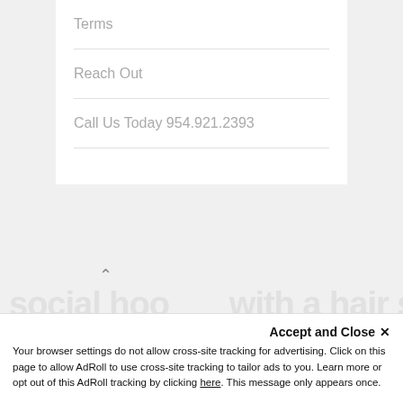Terms
Reach Out
Call Us Today 954.921.2393
^
Accept and Close ×
Your browser settings do not allow cross-site tracking for advertising. Click on this page to allow AdRoll to use cross-site tracking to tailor ads to you. Learn more or opt out of this AdRoll tracking by clicking here. This message only appears once.